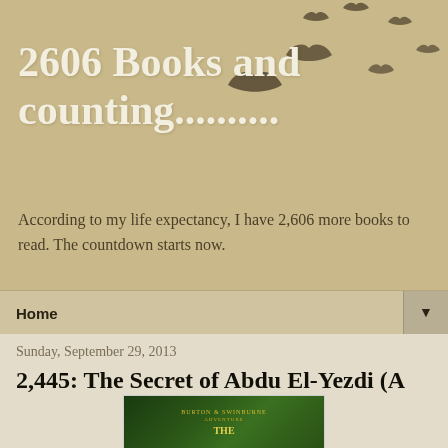2606 Books and counting..........
According to my life expectancy, I have 2,606 more books to read. The countdown starts now.
Home ▼
Sunday, September 29, 2013
2,445: The Secret of Abdu El-Yezdi (A Burton & Swinburne Adventure) by Mark Hodder
[Figure (photo): Book cover for 'The Secret of Abdu El-Yezdi: A Burton & Swinburne Adventure' by Mark Hodder, showing a decorative green and gold art nouveau style cover with text 'BURTON & SWINBURNE ADVENTURE' and 'THE' visible at the bottom.]